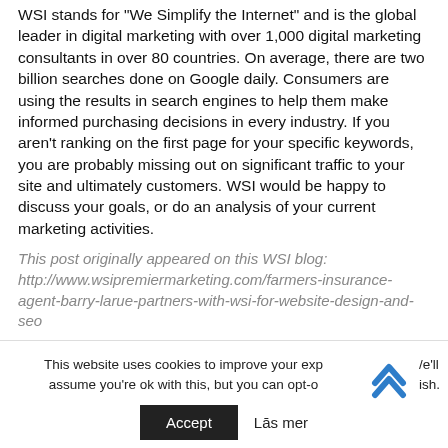WSI stands for "We Simplify the Internet" and is the global leader in digital marketing with over 1,000 digital marketing consultants in over 80 countries.  On average, there are two billion searches done on Google daily.  Consumers are using the results in search engines to help them make informed purchasing decisions in every industry.  If you aren't ranking on the first page for your specific keywords, you are probably missing out on significant traffic to your site and ultimately customers.  WSI would be happy to discuss your goals, or do an analysis of your current marketing activities.
This post originally appeared on this WSI blog: http://www.wsipremiermarketing.com/farmers-insurance-agent-barry-larue-partners-with-wsi-for-website-design-and-seo
Trackback (0) | Permalink
This website uses cookies to improve your experience. We'll assume you're ok with this, but you can opt-out if you wish.